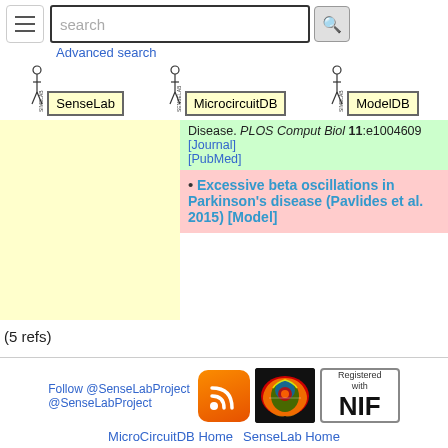search | Advanced search | SenseLab | MicrocircuitDB | ModelDB
[Figure (screenshot): Navigation bar with hamburger menu, search box, search button, and three database logos: SenseLab, MicrocircuitDB, ModelDB]
Disease. PLOS Comput Biol 11:e1004609 [Journal] [PubMed]
Excessive beta oscillations in Parkinson's disease (Pavlides et al. 2015) [Model]
(5 refs)
Follow @SenseLabProject @SenseLabProject
[Figure (logo): RSS feed icon, Brain/neuroscience icon, NIF Registered badge]
MicroCircuitDB Home   SenseLab Home
Questions, comments, problems? Email the MicroCircuitDB Administrator
© This site is Copyright @1998-2022 Shepherd Lab, Yale University